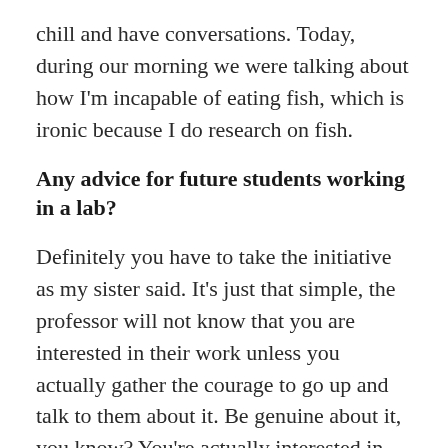chill and have conversations. Today, during our morning we were talking about how I'm incapable of eating fish, which is ironic because I do research on fish.
Any advice for future students working in a lab?
Definitely you have to take the initiative as my sister said. It's just that simple, the professor will not know that you are interested in their work unless you actually gather the courage to go up and talk to them about it. Be genuine about it, you know? You're actually interested in their work, you find this very cool, right? Once you express that and they see that, I don't see a reason